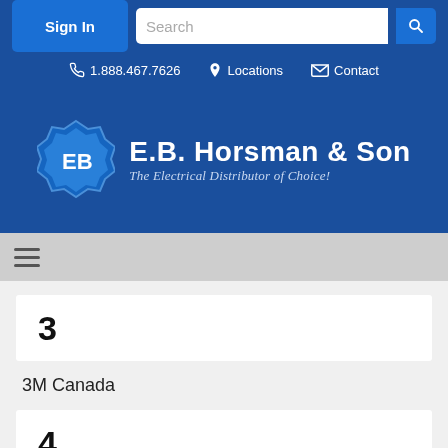Sign In | Search | 1.888.467.7626 | Locations | Contact
[Figure (logo): E.B. Horsman & Son logo - The Electrical Distributor of Choice!]
3
3M Canada
4